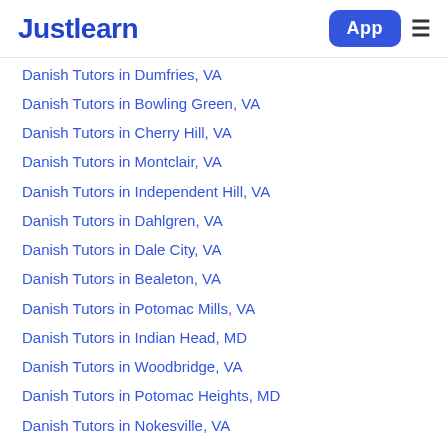Justlearn
Danish Tutors in Dumfries, VA
Danish Tutors in Bowling Green, VA
Danish Tutors in Cherry Hill, VA
Danish Tutors in Montclair, VA
Danish Tutors in Independent Hill, VA
Danish Tutors in Dahlgren, VA
Danish Tutors in Dale City, VA
Danish Tutors in Bealeton, VA
Danish Tutors in Potomac Mills, VA
Danish Tutors in Indian Head, MD
Danish Tutors in Woodbridge, VA
Danish Tutors in Potomac Heights, MD
Danish Tutors in Nokesville, VA
Danish Tutors in Lake Ridge, VA
Danish Tutors in Occoquan, VA
Danish Tutors in Colonial Beach, VA